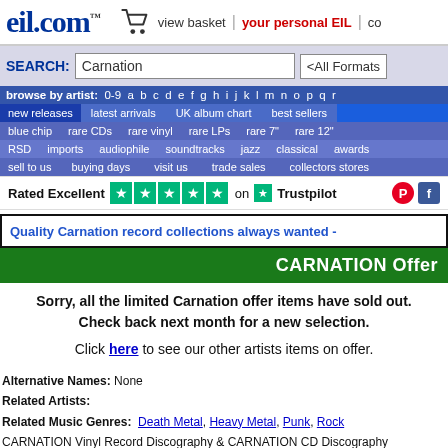eil.com™ — view basket | your personal EIL | co…
SEARCH: Carnation <All Formats>
browse by artist: 0-9 a b c d e f g h i j k l m n o p q r
new releases | latest arrivals | UK album chart | best sellers
blue chip | rare CDs | rare vinyl | rare LPs | rare 7" | rare 12"
RSD | imports | audiophile | soundtracks | jazz | classical | awards
sell to us | buying days | visit us | trade sales | collectors stores
Rated Excellent ★★★★★ on Trustpilot
Quality Carnation record collections always wanted -
CARNATION Offer
Sorry, all the limited Carnation offer items have sold out. Check back next month for a new selection.
Click here to see our other artists items on offer.
Alternative Names: None
Related Artists:
Related Music Genres: Death Metal, Heavy Metal, Punk, Rock
CARNATION Vinyl Record Discography & CARNATION CD Discography
Excellent ★★★★